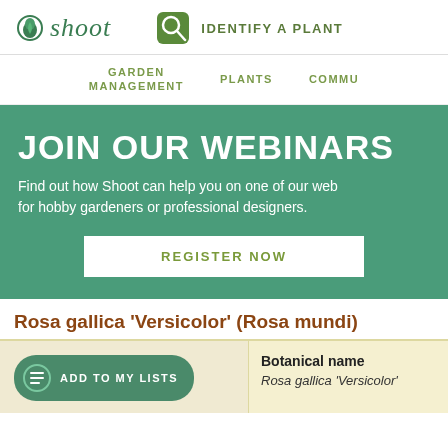shoot | IDENTIFY A PLANT
GARDEN MANAGEMENT   PLANTS   COMMU
JOIN OUR WEBINARS
Find out how Shoot can help you on one of our web for hobby gardeners or professional designers.
REGISTER NOW
Rosa gallica 'Versicolor' (Rosa mundi)
ADD TO MY LISTS
Botanical name
Rosa gallica 'Versicolor'